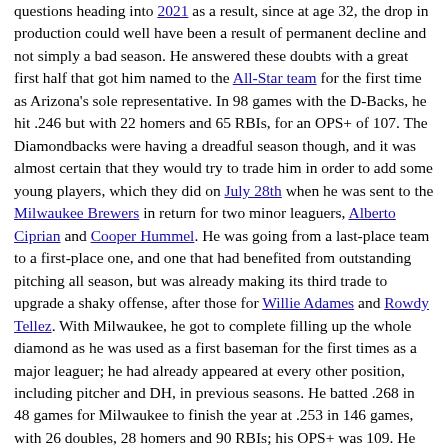questions heading into 2021 as a result, since at age 32, the drop in production could well have been a result of permanent decline and not simply a bad season. He answered these doubts with a great first half that got him named to the All-Star team for the first time as Arizona's sole representative. In 98 games with the D-Backs, he hit .246 but with 22 homers and 65 RBIs, for an OPS+ of 107. The Diamondbacks were having a dreadful season though, and it was almost certain that they would try to trade him in order to add some young players, which they did on July 28th when he was sent to the Milwaukee Brewers in return for two minor leaguers, Alberto Ciprian and Cooper Hummel. He was going from a last-place team to a first-place one, and one that had benefited from outstanding pitching all season, but was already making its third trade to upgrade a shaky offense, after those for Willie Adames and Rowdy Tellez. With Milwaukee, he got to complete filling up the whole diamond as he was used as a first baseman for the first times as a major leaguer; he had already appeared at every other position, including pitcher and DH, in previous seasons. He batted .268 in 48 games for Milwaukee to finish the year at .253 in 146 games, with 26 doubles, 28 homers and 90 RBIs; his OPS+ was 109. He then went 3 for 10 with a double as the Brewers lost to the Atlanta Braves in the Division Series.
On December 1, 2021, just before the start of the 2021-2022 lockout, he signed as a free agent with the New York Mets. He claimed the starting third base job for the team in 2022. On June